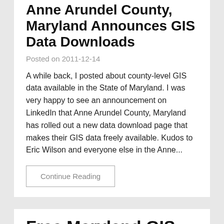Anne Arundel County, Maryland Announces GIS Data Downloads
Posted on 2011-12-14
A while back, I posted about county-level GIS data available in the State of Maryland. I was very happy to see an announcement on LinkedIn that Anne Arundel County, Maryland has rolled out a new data download page that makes their GIS data freely available. Kudos to Eric Wilson and everyone else in the Anne...
Continue Reading
Free Maryland GIS Data Resources
Posted on 2011-09-26